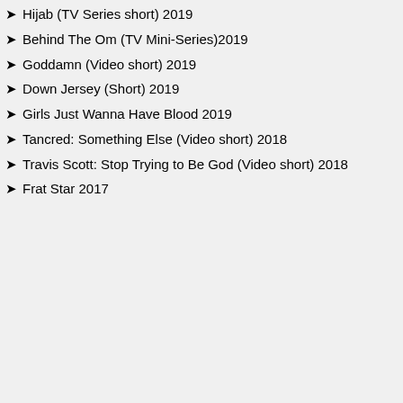➤ Hijab (TV Series short) 2019
➤ Behind The Om (TV Mini-Series)2019
➤ Goddamn (Video short) 2019
➤ Down Jersey (Short) 2019
➤ Girls Just Wanna Have Blood 2019
➤ Tancred: Something Else (Video short) 2018
➤ Travis Scott: Stop Trying to Be God (Video short) 2018
➤ Frat Star 2017